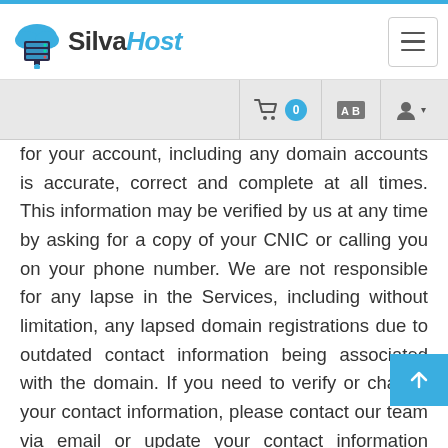SilvaHost
for your account, including any domain accounts is accurate, correct and complete at all times. This information may be verified by us at any time by asking for a copy of your CNIC or calling you on your phone number. We are not responsible for any lapse in the Services, including without limitation, any lapsed domain registrations due to outdated contact information being associated with the domain. If you need to verify or change your contact information, please contact our team via email or update your contact information through our support system. Providing false contact information of any kind may result in the termination of your account. For dedicated server purchases or in certain other cases, you may be required to provide government issued identification and possibly a scan of the credit card used for verification purposes. Failure to provide the information requested may result in your order being denied.